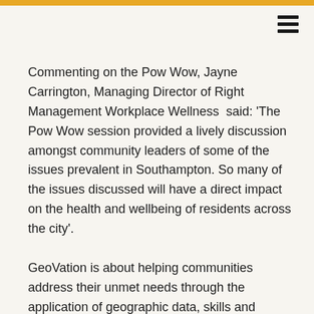Commenting on the Pow Wow, Jayne Carrington, Managing Director of Right Management Workplace Wellness  said: 'The Pow Wow session provided a lively discussion amongst community leaders of some of the issues prevalent in Southampton. So many of the issues discussed will have a direct impact on the health and wellbeing of residents across the city'.
GeoVation is about helping communities address their unmet needs through the application of geographic data, skills and expertise.  We are delighted that we have been able to apply this locally and it was great to see such a variety of local organisations represented
Following the Pow Wow, problems identified will be collated and fed into a report which will